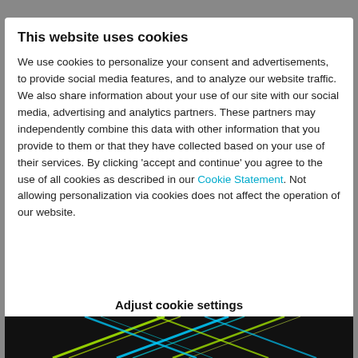This website uses cookies
We use cookies to personalize your consent and advertisements, to provide social media features, and to analyze our website traffic. We also share information about your use of our site with our social media, advertising and analytics partners. These partners may independently combine this data with other information that you provide to them or that they have collected based on your use of their services. By clicking 'accept and continue' you agree to the use of all cookies as described in our Cookie Statement. Not allowing personalization via cookies does not affect the operation of our website.
Adjust cookie settings
Accept and continue
[Figure (photo): Dark background with colorful neon light streaks (blue, yellow, green) in an abstract crossing pattern]